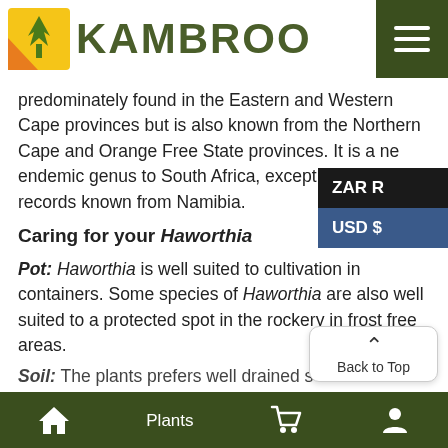[Figure (logo): Kambroo logo with green leaf plant icon on yellow/orange square background and KAMBROO text in dark green]
predominately found in the Eastern and Western Cape provinces but is also known from the Northern Cape and Orange Free State provinces. It is a near endemic genus to South Africa, except for a few records known from Namibia.
Caring for your Haworthia
Pot: Haworthia is well suited to cultivation in containers. Some species of Haworthia are also well suited to a protected spot in the rockery in frost free areas.
Soil: The plants prefers well drained s...
Plants